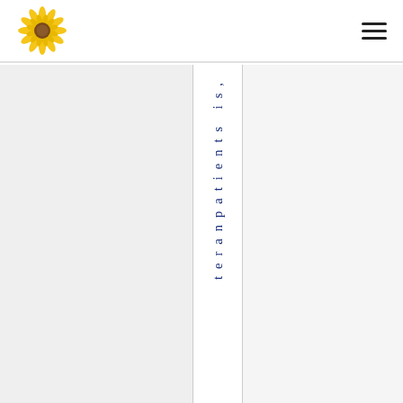sunflower logo and navigation menu
[Figure (logo): Sunflower logo icon — yellow petals around a brown center]
teranpatients is,